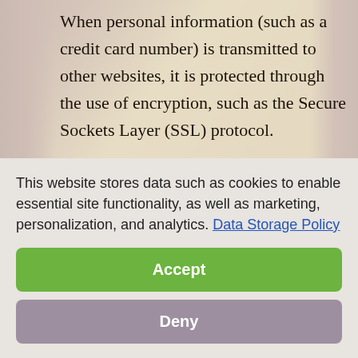When personal information (such as a credit card number) is transmitted to other websites, it is protected through the use of encryption, such as the Secure Sockets Layer (SSL) protocol.
Verisign is an independent, third-party company engaged in the development of digital trust. Verisign provides authentication
This website stores data such as cookies to enable essential site functionality, as well as marketing, personalization, and analytics. Data Storage Policy
Accept
Deny